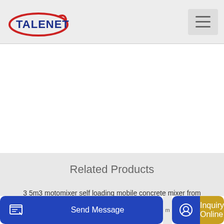[Figure (logo): Talenet company logo with red oval and blue text]
Related Products
3 5m3 motomixer self loading mobile concrete mixer from
kaneria mortar plant in surat
Send Message
Inquiry Online